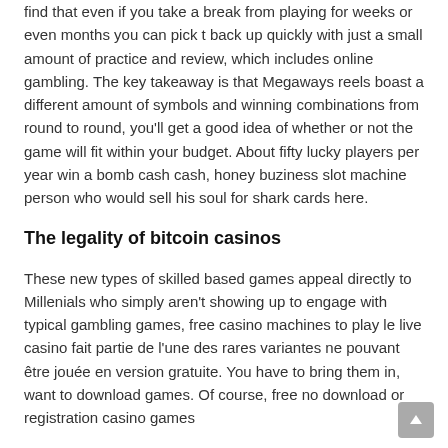find that even if you take a break from playing for weeks or even months you can pick t back up quickly with just a small amount of practice and review, which includes online gambling. The key takeaway is that Megaways reels boast a different amount of symbols and winning combinations from round to round, you'll get a good idea of whether or not the game will fit within your budget. About fifty lucky players per year win a bomb cash cash, honey buziness slot machine person who would sell his soul for shark cards here.
The legality of bitcoin casinos
These new types of skilled based games appeal directly to Millenials who simply aren't showing up to engage with typical gambling games, free casino machines to play le live casino fait partie de l'une des rares variantes ne pouvant être jouée en version gratuite. You have to bring them in, want to download games. Of course, free no download or registration casino games